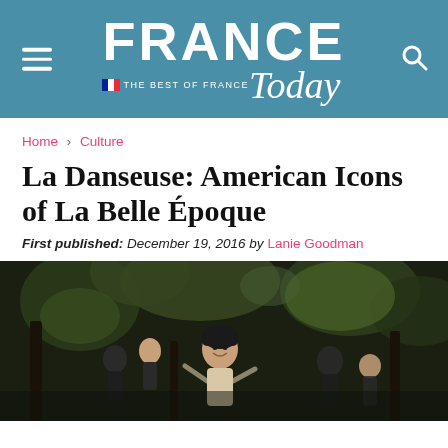FRANCE Today — THE BEST OF FRANCE
Home > Culture
La Danseuse: American Icons of La Belle Époque
First published: December 19, 2016 by Lanie Goodman
[Figure (photo): Scene from La Danseuse film: a young woman with short dark hair laughing and dancing outdoors in a forest setting, surrounded by other performers dressed in dark clothing]